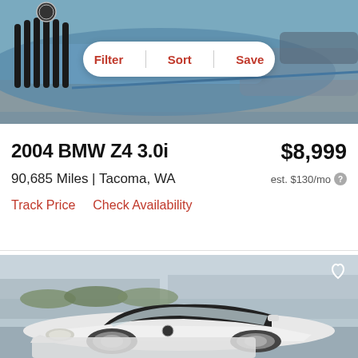[Figure (photo): Top portion of a blue BMW car, showing the front grille and hood area, with a filter/sort/save toolbar overlay]
Filter  Sort  Save
2004 BMW Z4 3.0i
$8,999
90,685 Miles | Tacoma, WA
est. $130/mo
Track Price    Check Availability
[Figure (photo): White BMW Z4 3.0i convertible with a black soft top, parked in a parking lot, front three-quarter view. A heart/save icon appears in the top right corner of the image.]